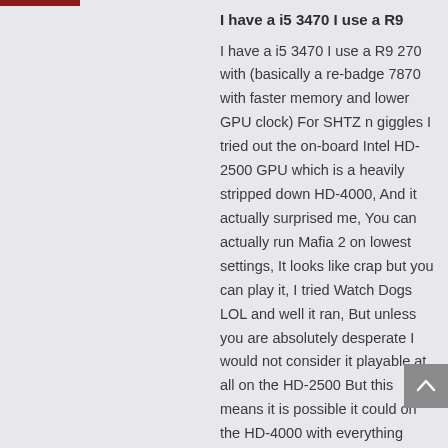I have a i5 3470 I use a R9
I have a i5 3470 I use a R9 270 with (basically a re-badge 7870 with faster memory and lower GPU clock) For SHTZ n giggles I tried out the on-board Intel HD-2500 GPU which is a heavily stripped down HD-4000, And it actually surprised me, You can actually run Mafia 2 on lowest settings, It looks like crap but you can play it, I tried Watch Dogs LOL and well it ran, But unless you are absolutely desperate I would not consider it playable at all on the HD-2500 But this means it is possible it could on the HD-4000 with everything turned down, But honestly gaming is for